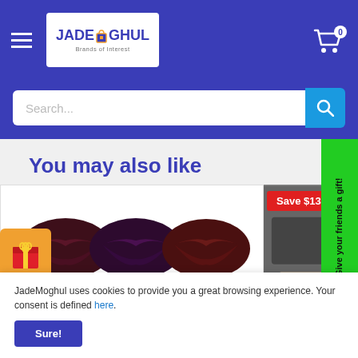JadeMoghul — Brands of Interest
Search...
You may also like
[Figure (photo): Lip swatches showing dark burgundy, dark purple, and dark maroon lipstick shades with text 'wow!! amazing colors!!']
Save $13
[Figure (photo): Partial image of a product on the right side]
Give your friends a gift!
🎁 Reviews
JadeMoghul uses cookies to provide you a great browsing experience. Your consent is defined here.
Sure!